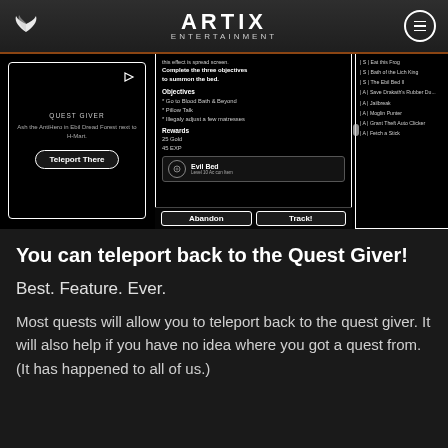ARTIX ENTERTAINMENT
[Figure (screenshot): Screenshot of Artix Entertainment game quest UI showing: a Quest Giver panel on the left with text 'Ash the AntiHero in Ebil Dread Forest next to H-Mart.' and a 'Teleport There' button; a center panel showing quest details including objectives 'Go to Blood Bath & Beyond', 'Pillow Talk', 'Illegally adjust a few matresses', rewards of 25 Gold and 45 EXP, and an 'Evil Bed' reward item; a right panel showing a quest list including 'S | Eat this Frog', 'S | Bath of the Lich King', 'S | The Ebil Bed II', 'A | Save Drakath's Rubber Du...', 'A | Jailbreak', 'A | Moglin Punter', 'A | Grant Theft Auto Clicker', 'A | Fetch a Stick'; and Abandon and Track! buttons at the bottom.]
You can teleport back to the Quest Giver!
Best. Feature. Ever.
Most quests will allow you to teleport back to the quest giver. It will also help if you have no idea where you got a quest from. (It has happened to all of us.)